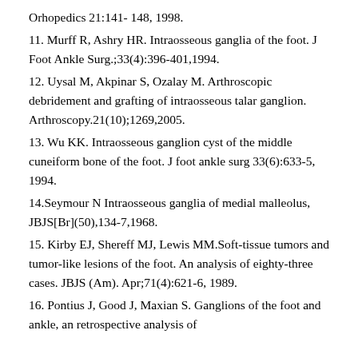Orhopedics 21:141- 148, 1998.
11. Murff R, Ashry HR. Intraosseous ganglia of the foot. J Foot Ankle Surg.;33(4):396-401,1994.
12. Uysal M, Akpinar S, Ozalay M. Arthroscopic debridement and grafting of intraosseous talar ganglion. Arthroscopy.21(10);1269,2005.
13. Wu KK. Intraosseous ganglion cyst of the middle cuneiform bone of the foot. J foot ankle surg 33(6):633-5, 1994.
14.Seymour N Intraosseous ganglia of medial malleolus, JBJS[Br](50),134-7,1968.
15. Kirby EJ, Shereff MJ, Lewis MM.Soft-tissue tumors and tumor-like lesions of the foot. An analysis of eighty-three cases. JBJS (Am). Apr;71(4):621-6, 1989.
16. Pontius J, Good J, Maxian S. Ganglions of the foot and ankle, an retrospective analysis of